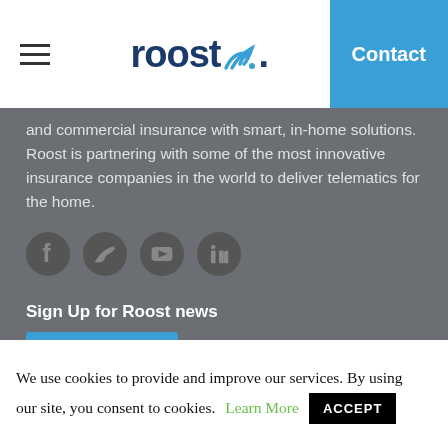roost [logo] | Contact
and commercial insurance with smart, in-home solutions. Roost is partnering with some of the most innovative insurance companies in the world to deliver telematics for the home.
[Figure (other): Social media icons: Facebook, Twitter, YouTube, LinkedIn]
Sign Up for Roost news
Sign Up
We use cookies to provide and improve our services. By using our site, you consent to cookies. Learn More ACCEPT